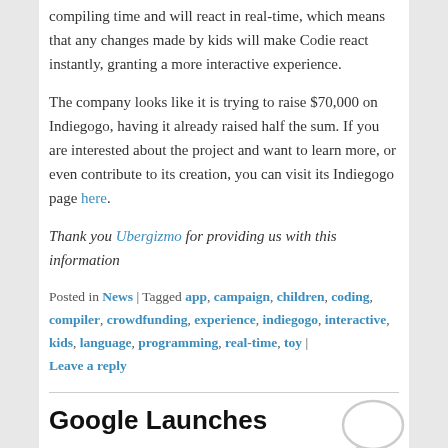compiling time and will react in real-time, which means that any changes made by kids will make Codie react instantly, granting a more interactive experience.
The company looks like it is trying to raise $70,000 on Indiegogo, having it already raised half the sum. If you are interested about the project and want to learn more, or even contribute to its creation, you can visit its Indiegogo page here.
Thank you Ubergizmo for providing us with this information
Posted in News | Tagged app, campaign, children, coding, compiler, crowdfunding, experience, indiegogo, interactive, kids, language, programming, real-time, toy | Leave a reply
Google Launches